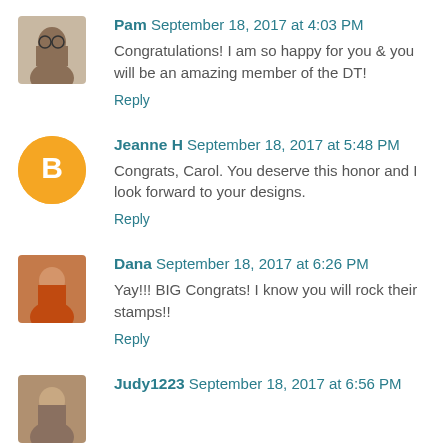Pam September 18, 2017 at 4:03 PM
Congratulations! I am so happy for you & you will be an amazing member of the DT!
Reply
Jeanne H September 18, 2017 at 5:48 PM
Congrats, Carol. You deserve this honor and I look forward to your designs.
Reply
Dana September 18, 2017 at 6:26 PM
Yay!!! BIG Congrats! I know you will rock their stamps!!
Reply
Judy1223 September 18, 2017 at 6:56 PM